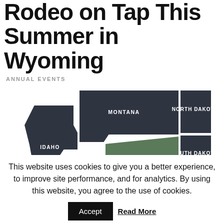Rodeo on Tap This Summer in Wyoming
ANNUAL EVENTS
[Figure (map): Regional map showing Wyoming highlighted in green surrounded by neighboring states (Montana, Idaho, North Dakota, South Dakota) in dark charcoal color]
This website uses cookies to give you a better experience, to improve site performance, and for analytics. By using this website, you agree to the use of cookies.
Accept   Read More